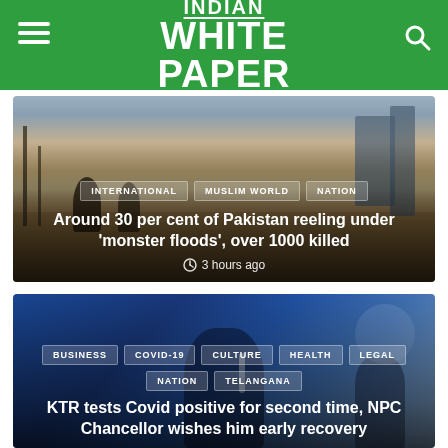Indian White Paper
[Figure (photo): Flood scene in Pakistan with people wading through brown floodwater]
INTERNATIONAL  MUSLIM WORLD  NATION
Around 30 per cent of Pakistan reeling under 'monster floods', over 1000 killed
3 hours ago
[Figure (photo): KTR speaking at a podium with microphone, blue background]
BUSINESS  COVID-19  CULTURE  HEALTH  LEGAL  NATION  TELANGANA
KTR tests Covid positive for second time, NPC Chancellor wishes him early recovery